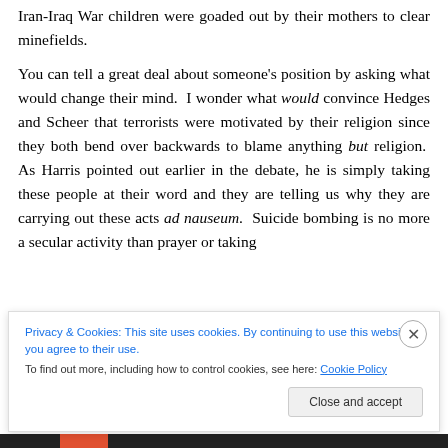Iran-Iraq War children were goaded out by their mothers to clear minefields.
You can tell a great deal about someone's position by asking what would change their mind. I wonder what would convince Hedges and Scheer that terrorists were motivated by their religion since they both bend over backwards to blame anything but religion. As Harris pointed out earlier in the debate, he is simply taking these people at their word and they are telling us why they are carrying out these acts ad nauseum. Suicide bombing is no more a secular activity than prayer or taking...
Privacy & Cookies: This site uses cookies. By continuing to use this website, you agree to their use. To find out more, including how to control cookies, see here: Cookie Policy